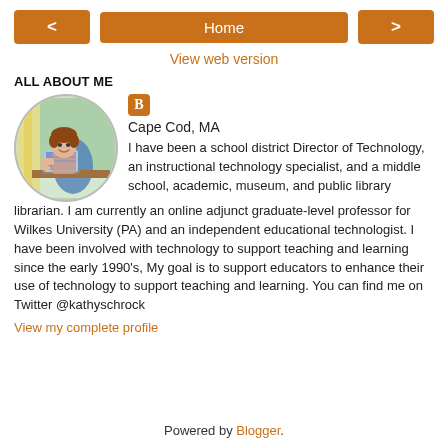< Home >
View web version
ALL ABOUT ME
[Figure (illustration): Cartoon avatar of a woman sitting at a laptop computer, with bookshelves in the background. Circular crop with a thin border.]
Cape Cod, MA
I have been a school district Director of Technology, an instructional technology specialist, and a middle school, academic, museum, and public library librarian. I am currently an online adjunct graduate-level professor for Wilkes University (PA) and an independent educational technologist. I have been involved with technology to support teaching and learning since the early 1990's, My goal is to support educators to enhance their use of technology to support teaching and learning. You can find me on Twitter @kathyschrock
View my complete profile
Powered by Blogger.